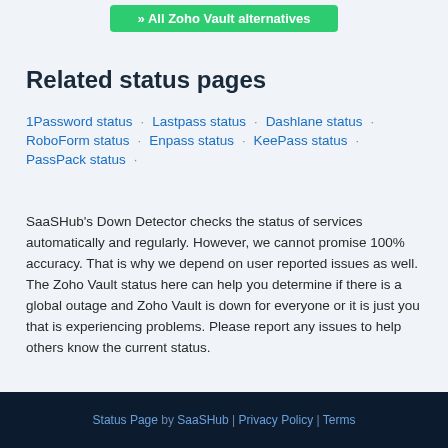[Figure (other): Green button partially visible at top: '» All Zoho Vault alternatives']
Related status pages
1Password status · Lastpass status · Dashlane status ·
RoboForm status · Enpass status · KeePass status ·
PassPack status ·
SaaSHub's Down Detector checks the status of services automatically and regularly. However, we cannot promise 100% accuracy. That is why we depend on user reported issues as well. The Zoho Vault status here can help you determine if there is a global outage and Zoho Vault is down for everyone or it is just you that is experiencing problems. Please report any issues to help others know the current status.
Status Page by SaaSHub | Privacy Policy | Terms